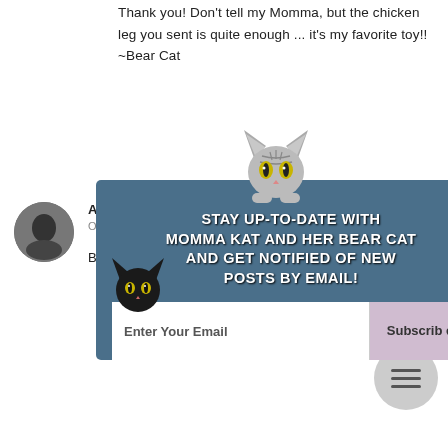Thank you! Don't tell my Momma, but the chicken leg you sent is quite enough ... it's my favorite toy!! ~Bear Cat
ANGEL ABBYGIRL
October
Bear make my calico
[Figure (infographic): Popup overlay with cat mascot at top, dark blue-grey background with white bold text: STAY UP-TO-DATE WITH MOMMA KAT AND HER BEAR CAT AND GET NOTIFIED OF NEW POSTS BY EMAIL! with a black cat illustration bottom left, email input field and Subscribe button at bottom, X close button top right]
Momma Kat and Her Bear Cat
October 17, 2016 at 5:28 AM
Thank you :) I LIKE calicos! ~Bear Cat